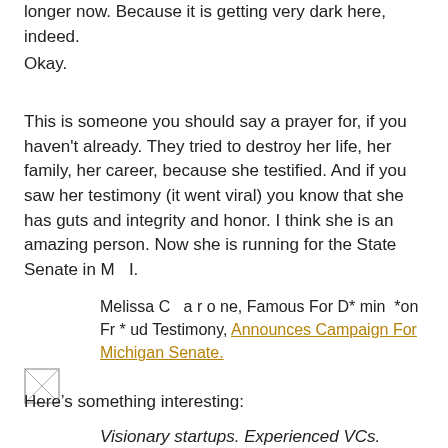longer now. Because it is getting very dark here, indeed.
Okay.
This is someone you should say a prayer for, if you haven't already. They tried to destroy her life, her family, her career, because she testified. And if you saw her testimony (it went viral) you know that she has guts and integrity and honor. I think she is an amazing person. Now she is running for the State Senate in M  I.
Melissa C  a r o ne, Famous For D* min *on Fr * ud Testimony, Announces Campaign For Michigan Senate.
[Figure (photo): Broken image placeholder icon]
Here’s something interesting:
Visionary startups. Experienced VCs. Dedicated government